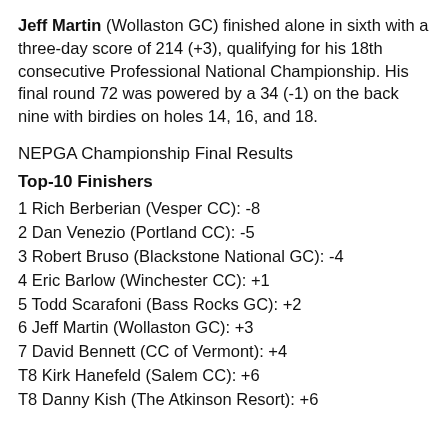Jeff Martin (Wollaston GC) finished alone in sixth with a three-day score of 214 (+3), qualifying for his 18th consecutive Professional National Championship. His final round 72 was powered by a 34 (-1) on the back nine with birdies on holes 14, 16, and 18.
NEPGA Championship Final Results
Top-10 Finishers
1 Rich Berberian (Vesper CC): -8
2 Dan Venezio (Portland CC): -5
3 Robert Bruso (Blackstone National GC): -4
4 Eric Barlow (Winchester CC): +1
5 Todd Scarafoni (Bass Rocks GC): +2
6 Jeff Martin (Wollaston GC): +3
7 David Bennett (CC of Vermont): +4
T8 Kirk Hanefeld (Salem CC): +6
T8 Danny Kish (The Atkinson Resort): +6